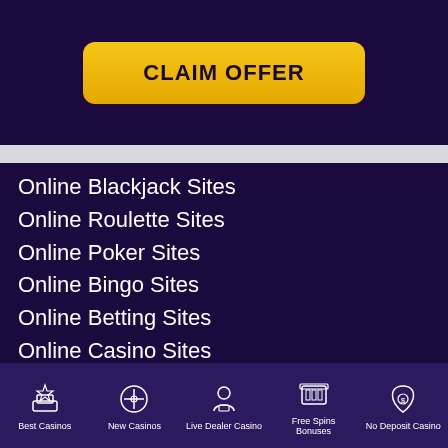[Figure (other): Yellow claim offer button on dark purple background]
Online Blackjack Sites
Online Roulette Sites
Online Poker Sites
Online Bingo Sites
Online Betting Sites
Online Casino Sites
Online Scratch Cards
Best Casinos | New Casinos | Live Dealer Casino | Free Spins Bonuses | No Deposit Casino